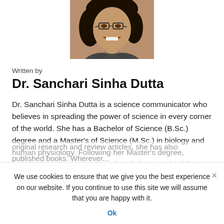[Figure (photo): Headshot photo of Dr. Sanchari Sinha Dutta, a woman with dark hair, glasses, and a smile, shown from the shoulders up.]
Written by
Dr. Sanchari Sinha Dutta
Dr. Sanchari Sinha Dutta is a science communicator who believes in spreading the power of science in every corner of the world. She has a Bachelor of Science (B.Sc.) degree and a Master's of Science (M.Sc.) in biology and human physiology. Following her Master's degree, Sanchari went on to study a Ph.D. in human physiology. She has authored more than 10
original research and review articles, she has also published books. Wherever...
Source: Read Full Article
Related posts:
We use cookies to ensure that we give you the best experience on our website. If you continue to use this site we will assume that you are happy with it.
Ok